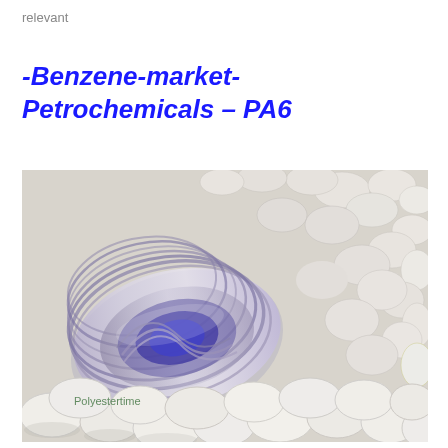relevant
-Benzene-market- Petrochemicals – PA6
[Figure (photo): A transparent plastic tube/pipe lying among white plastic pellets/granules. In the bottom left corner text reads 'Polyestertime'.]